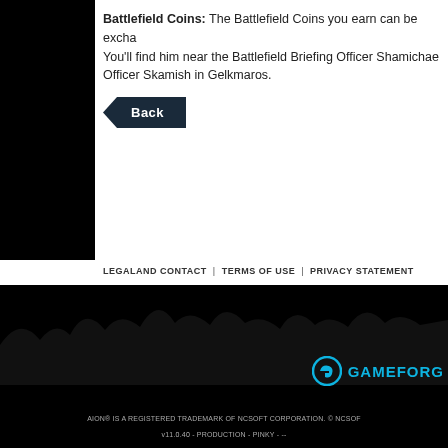Battlefield Coins: The Battlefield Coins you earn can be exchanged. You'll find him near the Battlefield Briefing Officer Shamichaele. Officer Skamish in Gelkmaros.
[Figure (other): Back navigation button — dark navy pentagon/arrow shape with white text 'Back']
LEGALAND CONTACT | TERMS OF USE | PRIVACY STATEMENT
[Figure (other): Black footer area with mountain silhouette, social media icons (Facebook, Twitter, YouTube, Instagram), Gameforge logo, trademark disclaimer and version string]
AION® IS A REGISTERED TRADEMARK OF NCSOFT CORPORATION. © NCSOFT v11.0.40 - PRODUCTION - PINKY - --